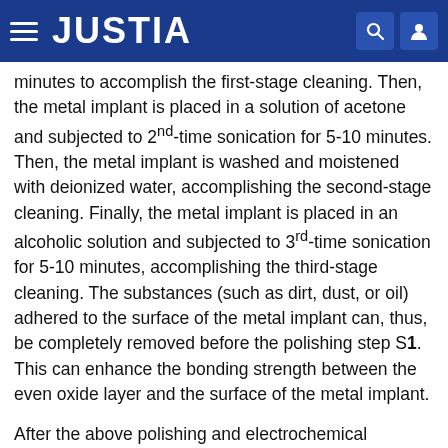JUSTIA
minutes to accomplish the first-stage cleaning. Then, the metal implant is placed in a solution of acetone and subjected to 2nd-time sonication for 5-10 minutes. Then, the metal implant is washed and moistened with deionized water, accomplishing the second-stage cleaning. Finally, the metal implant is placed in an alcoholic solution and subjected to 3rd-time sonication for 5-10 minutes, accomplishing the third-stage cleaning. The substances (such as dirt, dust, or oil) adhered to the surface of the metal implant can, thus, be completely removed before the polishing step S1. This can enhance the bonding strength between the even oxide layer and the surface of the metal implant.
After the above polishing and electrochemical grafting, a metal implant is obtained. With reference to FIG. 3, the metal implant includes a metal layer 1, an oxide layer 2.